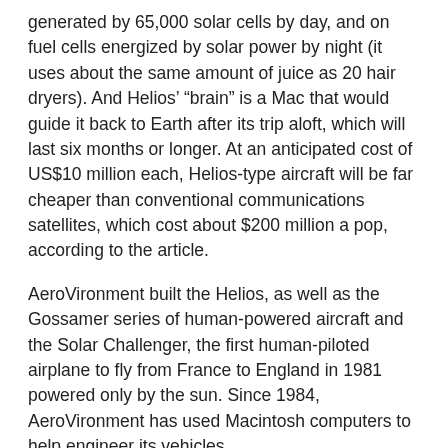generated by 65,000 solar cells by day, and on fuel cells energized by solar power by night (it uses about the same amount of juice as 20 hair dryers). And Helios' “brain” is a Mac that would guide it back to Earth after its trip aloft, which will last six months or longer. At an anticipated cost of US$10 million each, Helios-type aircraft will be far cheaper than conventional communications satellites, which cost about $200 million a pop, according to the article.
AeroVironment built the Helios, as well as the Gossamer series of human-powered aircraft and the Solar Challenger, the first human-piloted airplane to fly from France to England in 1981 powered only by the sun. Since 1984, AeroVironment has used Macintosh computers to help engineer its vehicles.
[Figure (logo): Macworld TV logo in a blue bordered box]